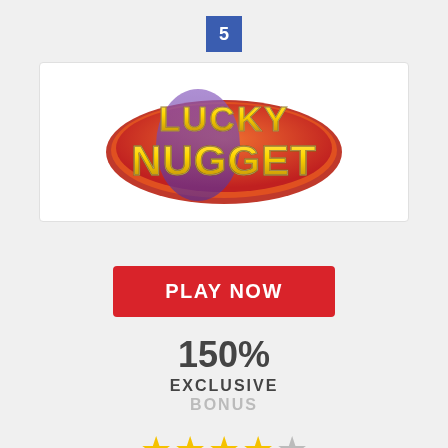5
[Figure (logo): Lucky Nugget casino logo with gold lettering on a red/orange oval background]
PLAY NOW
150%
EXCLUSIVE
BONUS
[Figure (other): 4.5 out of 5 stars rating (4 full gold stars and 1 grey star)]
Lucky Nugget